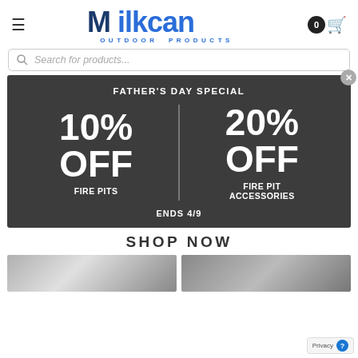[Figure (logo): Milkcan Outdoor Products logo with blue stylized M and text]
[Figure (screenshot): Search bar with placeholder text 'Search for products...']
[Figure (infographic): Father's Day Special promotional banner: 10% OFF Fire Pits | 20% OFF Fire Pit Accessories, Ends 4/9]
SHOP NOW
[Figure (photo): Two product thumbnail images at the bottom of the page]